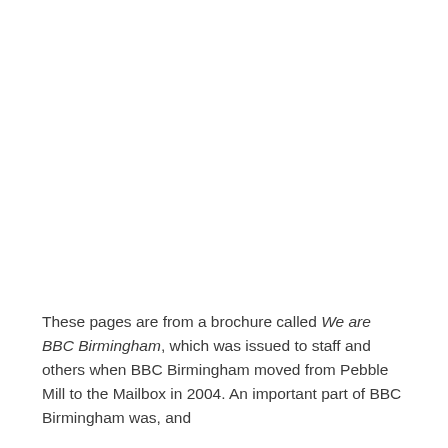These pages are from a brochure called We are BBC Birmingham, which was issued to staff and others when BBC Birmingham moved from Pebble Mill to the Mailbox in 2004. An important part of BBC Birmingham was, and